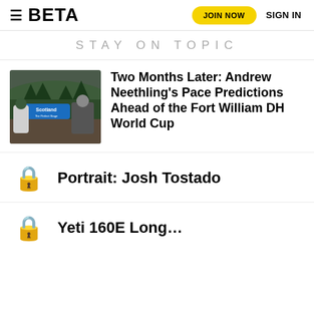≡ BETA  JOIN NOW  SIGN IN
STAY ON TOPIC
[Figure (photo): Photo of people at a Scotland sign outdoors, forested highland landscape in the background]
Two Months Later: Andrew Neethling's Pace Predictions Ahead of the Fort William DH World Cup
Portrait: Josh Tostado
Yeti 160E Long…